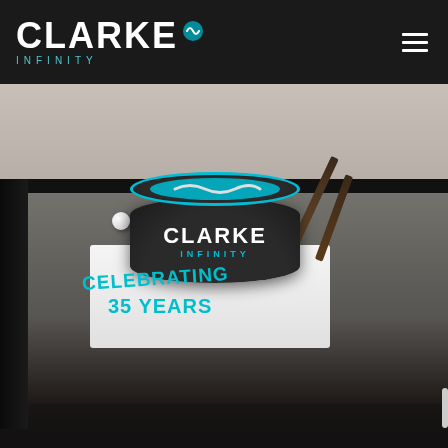[Figure (logo): Clarke Infinity logo — white bold CLARKE text with teal infinity symbol icon, and INFINITY in teal spaced letters below, on dark background]
[Figure (photo): Photograph of a Clarke Infinity branded cake shaped like a hockey puck sitting on a pool table. The black fondant cake has CLARKE in white and INFINITY in teal on its side. The white cake board reads CELEBRATING 35 YEARS in teal letters. A pool table with grey felt, pool cues, and a cue ball are visible in the background room.]